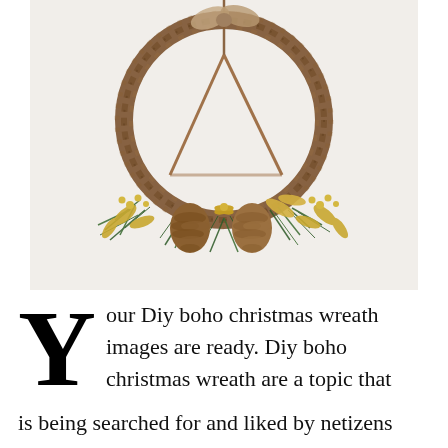[Figure (photo): A boho-style Christmas wreath made of natural grapevine twisted into a circular shape, decorated at the bottom with pine cones, gold metallic leaves, gold berries, and green pine sprigs. The wreath hangs on a white wall with a thin rope forming a triangular hanger.]
Your Diy boho christmas wreath images are ready. Diy boho christmas wreath are a topic that is being searched for and liked by netizens